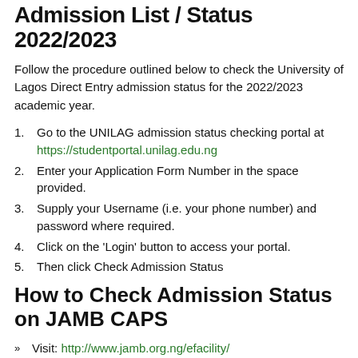Admission List / Status 2022/2023
Follow the procedure outlined below to check the University of Lagos Direct Entry admission status for the 2022/2023 academic year.
Go to the UNILAG admission status checking portal at https://studentportal.unilag.edu.ng
Enter your Application Form Number in the space provided.
Supply your Username (i.e. your phone number) and password where required.
Click on the 'Login' button to access your portal.
Then click Check Admission Status
How to Check Admission Status on JAMB CAPS
Visit: http://www.jamb.org.ng/efacility/
Log in with your registered email address and password to access your dashboard.